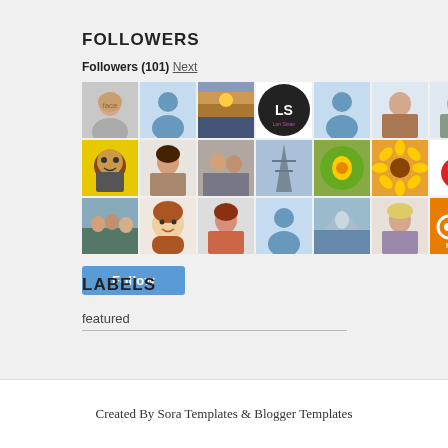FOLLOWERS
Followers (101) Next
[Figure (other): Grid of 21 follower avatar thumbnails in 3 rows of 7, showing profile photos, illustrations, and default person icons in blue, yellow, and orange backgrounds]
Follow
LABELS
featured
Created By Sora Templates & Blogger Templates